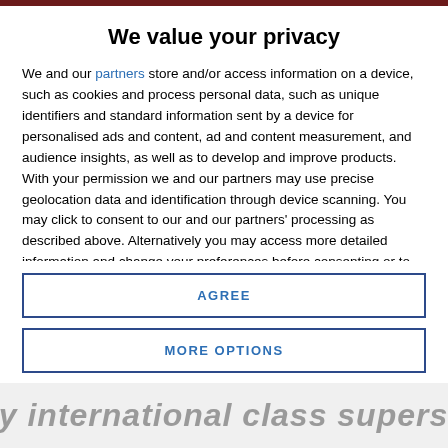We value your privacy
We and our partners store and/or access information on a device, such as cookies and process personal data, such as unique identifiers and standard information sent by a device for personalised ads and content, ad and content measurement, and audience insights, as well as to develop and improve products. With your permission we and our partners may use precise geolocation data and identification through device scanning. You may click to consent to our and our partners' processing as described above. Alternatively you may access more detailed information and change your preferences before consenting or to refuse consenting. Please note that some processing of your personal data may not require your consent, but you have a right to
AGREE
MORE OPTIONS
day international class supers at